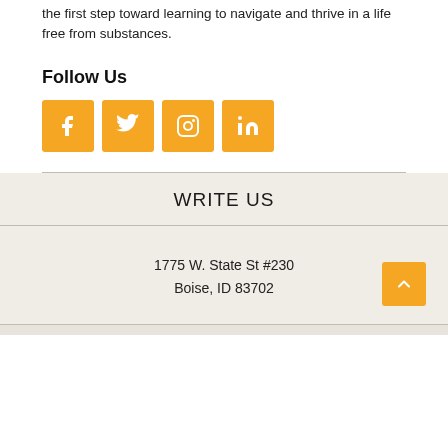the first step toward learning to navigate and thrive in a life free from substances.
Follow Us
[Figure (other): Four orange social media icon buttons: Facebook, Twitter, Instagram, LinkedIn]
WRITE US
1775 W. State St #230
Boise, ID 83702